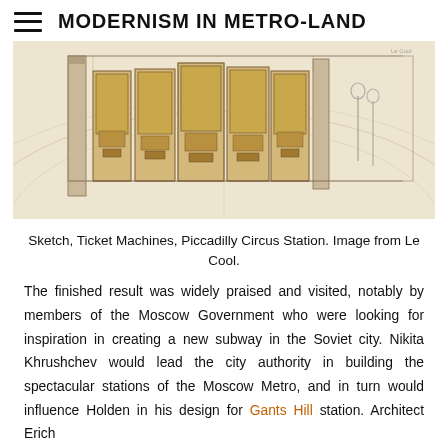MODERNISM IN METRO-LAND
[Figure (illustration): Pencil sketch of Ticket Machines at Piccadilly Circus Station, showing wooden cabinet-like ticket machine units in a row with arched architectural details and two figures in the background.]
Sketch, Ticket Machines, Piccadilly Circus Station. Image from Le Cool.
The finished result was widely praised and visited, notably by members of the Moscow Government who were looking for inspiration in creating a new subway in the Soviet city. Nikita Khrushchev would lead the city authority in building the spectacular stations of the Moscow Metro, and in turn would influence Holden in his design for Gants Hill station. Architect Erich